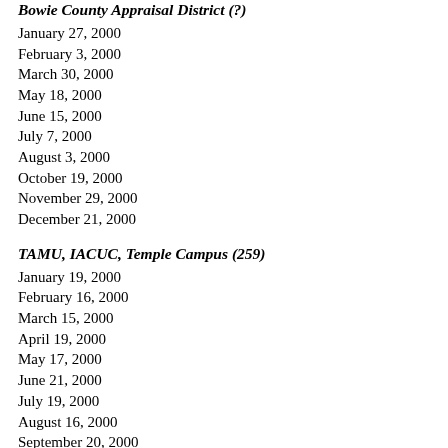Bowie County Appraisal District (?)
January 27, 2000
February 3, 2000
March 30, 2000
May 18, 2000
June 15, 2000
July 7, 2000
August 3, 2000
October 19, 2000
November 29, 2000
December 21, 2000
TAMU, IACUC, Temple Campus (259)
January 19, 2000
February 16, 2000
March 15, 2000
April 19, 2000
May 17, 2000
June 21, 2000
July 19, 2000
August 16, 2000
September 20, 2000
October 18, 2000
November 15, 2000
December 20, 2000